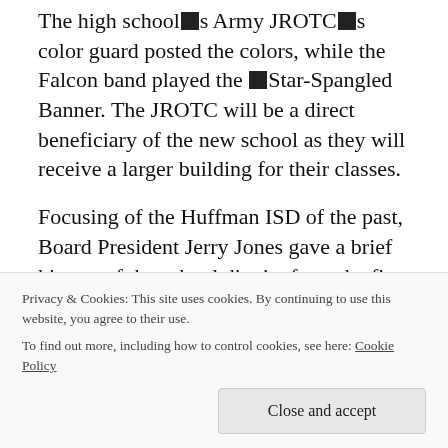The high school's Army JROTC's color guard posted the colors, while the Falcon band played the ★Star-Spangled Banner. The JROTC will be a direct beneficiary of the new school as they will receive a larger building for their classes.
Focusing of the Huffman ISD of the past, Board President Jerry Jones gave a brief history of the school district from the first school which opened on FM 2100 in 1915, to the last countyrun school to operate in Harris County in the late 1920s. In 1967, the first Jr. / Sr. high was built, in the area
Privacy & Cookies: This site uses cookies. By continuing to use this website, you agree to their use.
To find out more, including how to control cookies, see here: Cookie Policy